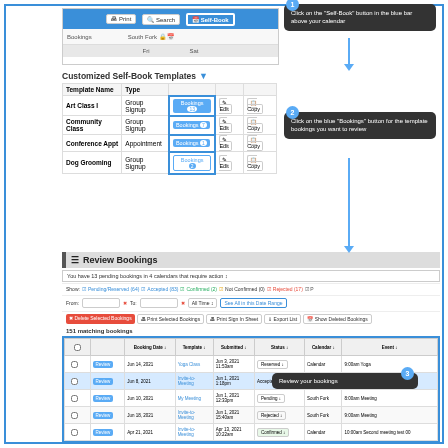[Figure (screenshot): Screenshot showing the Self-Book button in a blue navigation bar above a calendar with Print, Search, Self-Book buttons]
Click on the 'Self-Book' button in the blue bar above your calendar
| Template Name | Type |  |  |  |
| --- | --- | --- | --- | --- |
| Art Class I | Group Signup | Bookings 13 | Edit | Copy |
| Community Class | Group Signup | Bookings 7 | Edit | Copy |
| Conference Appt | Appointment | Bookings 1 | Edit | Copy |
| Dog Grooming | Group Signup | Bookings 2 | Edit | Copy |
Click on the blue 'Bookings' button for the template bookings you want to review
Review Bookings
You have 13 pending bookings in 4 calendars that require action
Show: Pending/Reserved (64) Accepted (83) Confirmed (2) Not Confirmed (0) Rejected (17) P
From: To: All Time See All in this Date Range
Delete Selected Bookings  Print Selected Bookings  Print Sign In Sheet  Export List  Show Deleted Bookings
151 matching bookings
|  |  | Booking Date | Template | Submitted | Status | Calendar | Event |
| --- | --- | --- | --- | --- | --- | --- | --- |
| Review | Jun 14, 2021 | Yoga Class | Jun 3, 2021 11:53am | Reserved | Calendar | 9:00am Yoga |
| Review | Jun 8, 2021 | Invite-to-Meeting | Jun 1, 2021 1:18pm | Accepted | Calendar | 9:00am Meeting |
| Review | Jun 10, 2021 | My Meeting | Jun 1, 2021 12:33pm | Pending | South Fork | 8:00am Meeting |
| Review | Jun 18, 2021 | Invite-to-Meeting | Jun 1, 2021 15:40am | Rejected | South Fork | 9:00am Meeting |
| Review | Apr 21, 2021 | Invite-to-Meeting | Apr 13, 2021 10:22am | Confirmed | Calendar | 10:00am Second meeting test 00 |
Review your bookings